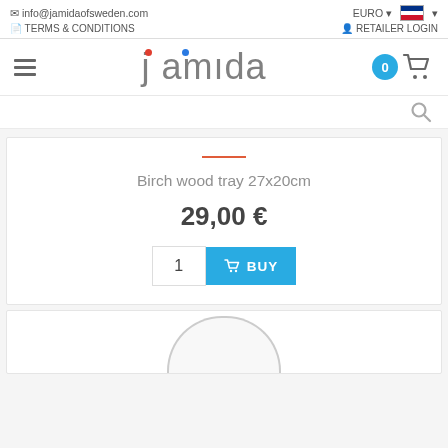info@jamidaofsweden.com | TERMS & CONDITIONS | EURO | RETAILER LOGIN
[Figure (logo): Jamida logo with red dot over j and blue dot over i]
Birch wood tray 27x20cm
29,00 €
1  BUY